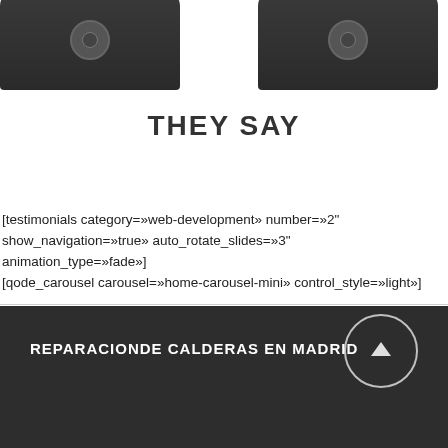[Figure (screenshot): Two dark smartphone device silhouettes partially visible at top of page]
THEY SAY
[testimonials category=»web-development» number=»2" show_navigation=»true» auto_rotate_slides=»3" animation_type=»fade»]
[qode_carousel carousel=»home-carousel-mini» control_style=»light»]
[Figure (screenshot): Dark footer section with site copyright and back-to-top button]
REPARACIONDE CALDERAS EN MADRID